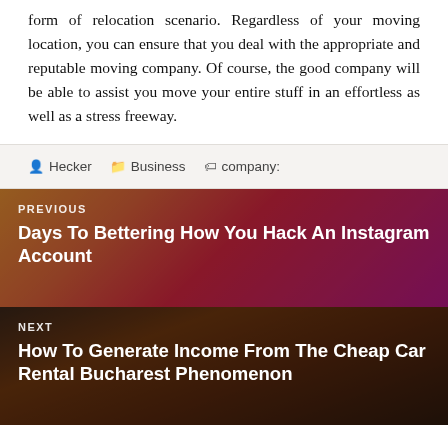form of relocation scenario. Regardless of your moving location, you can ensure that you deal with the appropriate and reputable moving company. Of course, the good company will be able to assist you move your entire stuff in an effortless as well as a stress freeway.
Hecker   Business   company:
[Figure (photo): Previous post navigation block with Instagram app photo background. Text reads: PREVIOUS - Days To Bettering How You Hack An Instagram Account]
[Figure (photo): Next post navigation block with car photo background. Text reads: NEXT - How To Generate Income From The Cheap Car Rental Bucharest Phenomenon]